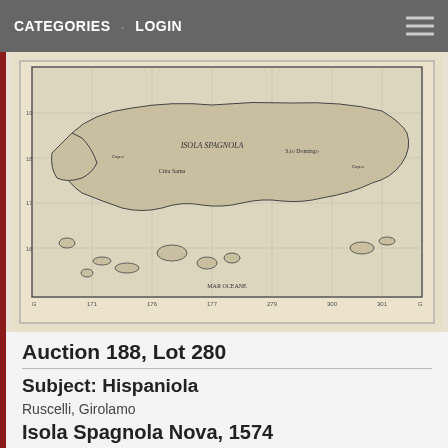CATEGORIES · LOGIN
[Figure (map): Antique map of Hispaniola (Isola Spagnola Nova) from 1574, showing the island in black and white engraving style with latitude/longitude grid lines, coastline details, and place names in Latin/Italian script. Scale bar at bottom.]
Auction 188, Lot 280
Subject: Hispaniola
Ruscelli, Girolamo
Isola Spagnola Nova, 1574
Size: 9.7 x 7.1 inches (24.6 x 18 cm)
Estimate: $240 - $300